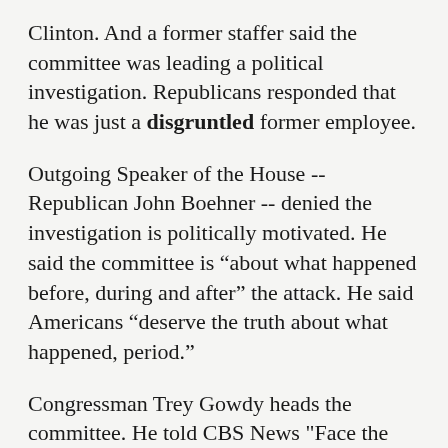Clinton. And a former staffer said the committee was leading a political investigation. Republicans responded that he was just a disgruntled former employee.
Outgoing Speaker of the House -- Republican John Boehner -- denied the investigation is politically motivated. He said the committee is “about what happened before, during and after” the attack. He said Americans “deserve the truth about what happened, period.”
Congressman Trey Gowdy heads the committee. He told CBS News "Face the Nation" Sunday there was new information in the investigation. He said information in emails from Ambassador Chris Stevens shows that the ambassador repeatedly requested additional security from the State Department.